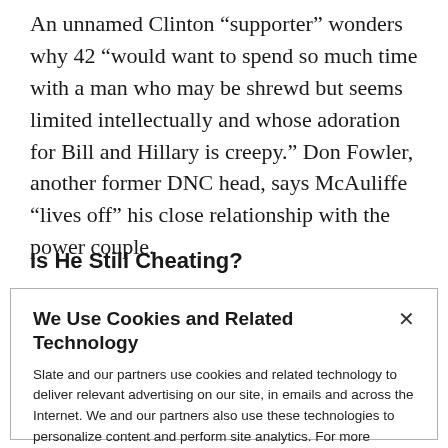An unnamed Clinton “supporter” wonders why 42 “would want to spend so much time with a man who may be shrewd but seems limited intellectually and whose adoration for Bill and Hillary is creepy.” Don Fowler, another former DNC head, says McAuliffe “lives off” his close relationship with the power couple.
Is He Still Cheating?
We Use Cookies and Related Technology

Slate and our partners use cookies and related technology to deliver relevant advertising on our site, in emails and across the Internet. We and our partners also use these technologies to personalize content and perform site analytics. For more information, see our terms and privacy policy. Privacy Policy

OK